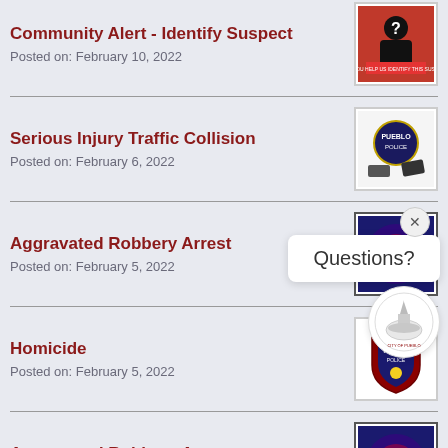Community Alert - Identify Suspect
Posted on: February 10, 2022
Serious Injury Traffic Collision
Posted on: February 6, 2022
Aggravated Robbery Arrest
Posted on: February 5, 2022
Homicide
Posted on: February 5, 2022
Aggravated Robbery Arrest
Posted on: February 4, 2022
Traffic Fatality
[Figure (screenshot): Questions? chat popup overlay with City of Pueblo logo]